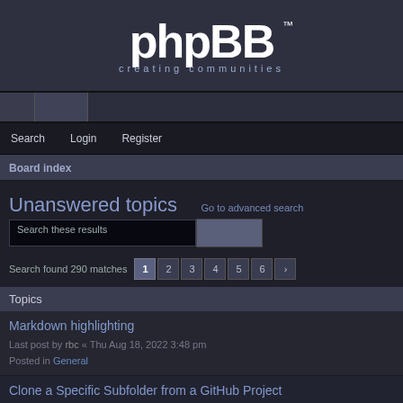[Figure (logo): phpBB logo with text 'creating communities']
Search   Login   Register
Board index
Unanswered topics
Go to advanced search
Search these results
Search found 290 matches   1  2  3  4  5  6  ›
Topics
Markdown highlighting
Last post by rbc « Thu Aug 18, 2022 3:48 pm
Posted in General
Clone a Specific Subfolder from a GitHub Project
Last post by ••• « Tue Jul 12, 2022 2:18 am